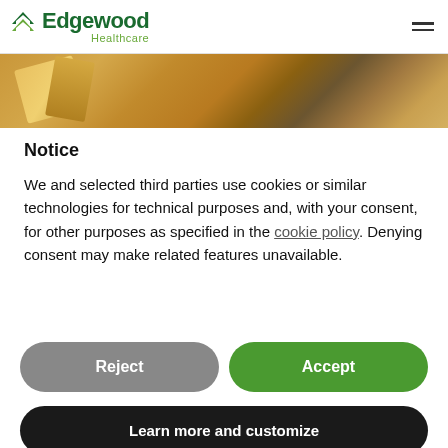Edgewood Healthcare
[Figure (photo): Interior photo showing wooden ceiling beams and warm ambient lighting]
Notice
We and selected third parties use cookies or similar technologies for technical purposes and, with your consent, for other purposes as specified in the cookie policy. Denying consent may make related features unavailable.
Reject
Accept
Learn more and customize